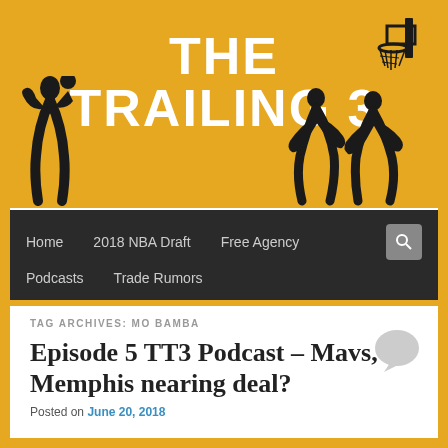[Figure (logo): The Trailing 3 basketball blog header with player silhouettes and basketball hoop on golden/amber background]
Home  2018 NBA Draft  Free Agency  Podcasts  Trade Rumors
TAG ARCHIVES: MO BAMBA
Episode 5 TT3 Podcast – Mavs, Memphis nearing deal?
Posted on June 20, 2018